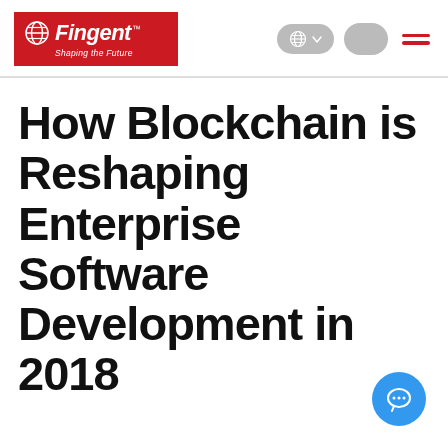[Figure (logo): Fingent logo — red background with globe icon, white italic bold text 'Fingent™' and tagline 'Shaping the Future']
[Figure (infographic): Navigation bar icons: language selector pill (globe icon with dropdown), search pill, hamburger menu in red]
How Blockchain is Reshaping Enterprise Software Development in 2018
[Figure (illustration): Blue circular chat bubble button with three dots, bottom right corner]